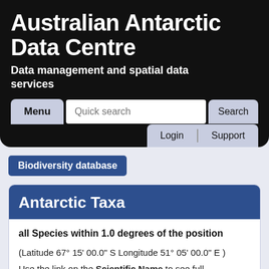Australian Antarctic Data Centre
Data management and spatial data services
[Figure (screenshot): Navigation bar with Menu button, Quick search input, Search button, Login and Support links]
Biodiversity database
Antarctic Taxa
all Species within 1.0 degrees of the position
(Latitude 67° 15' 00.0" S Longitude 51° 05' 00.0" E )
Use the link on the Scientific Name to see full